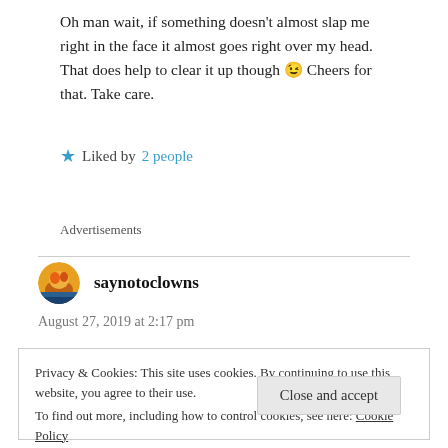Oh man wait, if something doesn't almost slap me right in the face it almost goes right over my head. That does help to clear it up though 😉 Cheers for that. Take care.
★ Liked by 2 people
Advertisements
saynotoclowns
August 27, 2019 at 2:17 pm
Privacy & Cookies: This site uses cookies. By continuing to use this website, you agree to their use. To find out more, including how to control cookies, see here: Cookie Policy